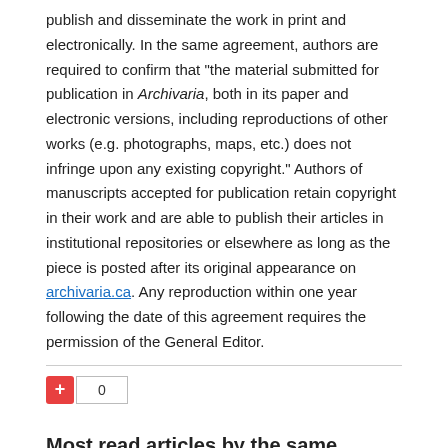publish and disseminate the work in print and electronically. In the same agreement, authors are required to confirm that "the material submitted for publication in Archivaria, both in its paper and electronic versions, including reproductions of other works (e.g. photographs, maps, etc.) does not infringe upon any existing copyright." Authors of manuscripts accepted for publication retain copyright in their work and are able to publish their articles in institutional repositories or elsewhere as long as the piece is posted after its original appearance on archivaria.ca. Any reproduction within one year following the date of this agreement requires the permission of the General Editor.
[Figure (other): A red plus button and a counter showing 0]
Most read articles by the same author(s)
Elizabeth Shaffer, ROY ROSENZWEIG, Clio Wired: The